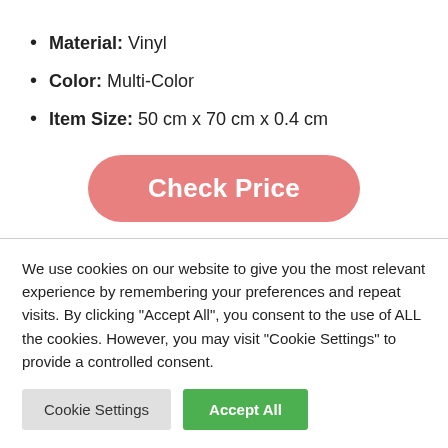Material: Vinyl
Color: Multi-Color
Item Size: 50 cm x 70 cm x 0.4 cm
[Figure (other): Check Price button — pink/salmon rounded rectangle button with white text]
6. Dicton Hub Super Hero Batman
We use cookies on our website to give you the most relevant experience by remembering your preferences and repeat visits. By clicking "Accept All", you consent to the use of ALL the cookies. However, you may visit "Cookie Settings" to provide a controlled consent.
Cookie Settings | Accept All